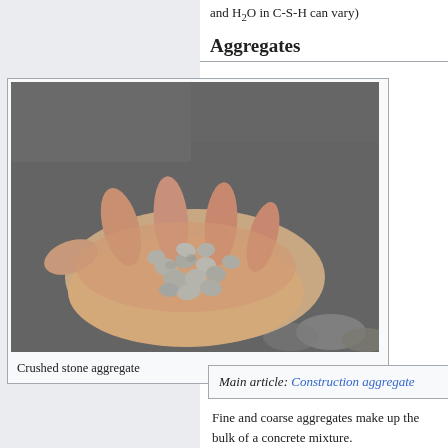and H₂O in C-S-H can vary)
Aggregates
[Figure (photo): A hand holding multiple pieces of crushed stone aggregate against a dark gravel background]
Crushed stone aggregate
Main article: Construction aggregate
Fine and coarse aggregates make up the bulk of a concrete mixture.